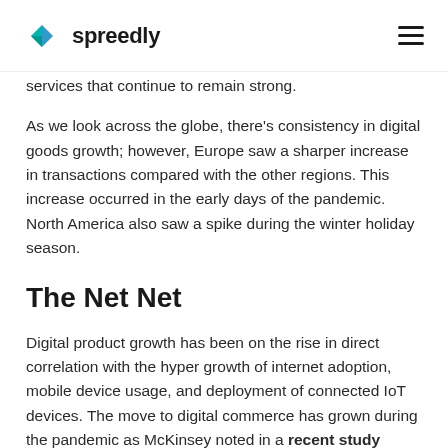Spreedly
services that continue to remain strong.
As we look across the globe, there's consistency in digital goods growth; however, Europe saw a sharper increase in transactions compared with the other regions. This increase occurred in the early days of the pandemic. North America also saw a spike during the winter holiday season.
The Net Net
Digital product growth has been on the rise in direct correlation with the hyper growth of internet adoption, mobile device usage, and deployment of connected IoT devices. The move to digital commerce has grown during the pandemic as McKinsey noted in a recent study there's been a "Flight to Digital" and that "persists across countries and